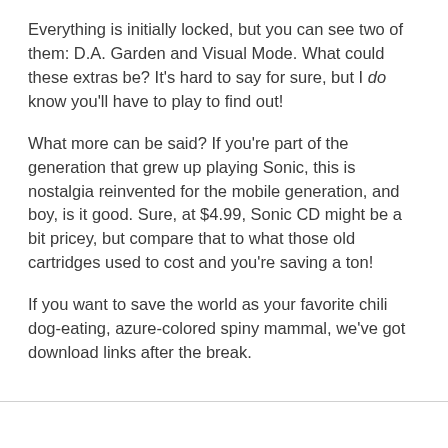Everything is initially locked, but you can see two of them: D.A. Garden and Visual Mode. What could these extras be? It's hard to say for sure, but I do know you'll have to play to find out!
What more can be said? If you're part of the generation that grew up playing Sonic, this is nostalgia reinvented for the mobile generation, and boy, is it good. Sure, at $4.99, Sonic CD might be a bit pricey, but compare that to what those old cartridges used to cost and you're saving a ton!
If you want to save the world as your favorite chili dog-eating, azure-colored spiny mammal, we've got download links after the break.